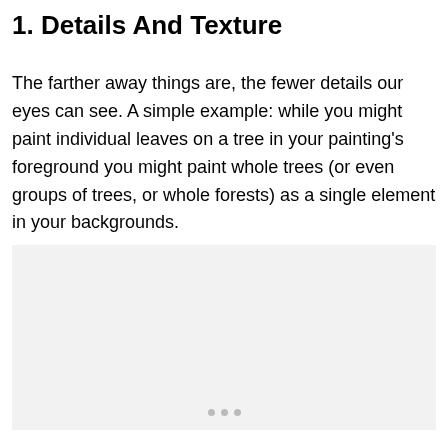1. Details And Texture
The farther away things are, the fewer details our eyes can see. A simple example: while you might paint individual leaves on a tree in your painting's foreground you might paint whole trees (or even groups of trees, or whole forests) as a single element in your backgrounds.
[Figure (photo): Placeholder image area with light gray background and three small dots at the bottom center, indicating an image loading or placeholder state.]